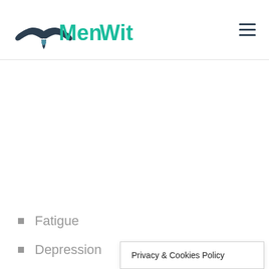MenWit
Fatigue
Depression
Anxi...
Privacy & Cookies Policy